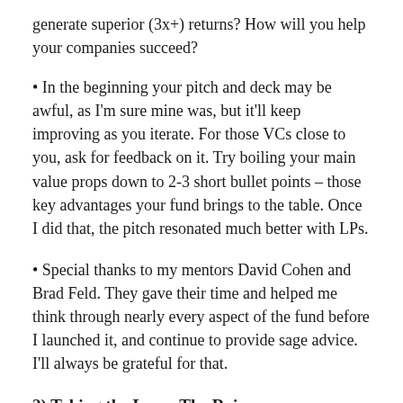generate superior (3x+) returns? How will you help your companies succeed?
In the beginning your pitch and deck may be awful, as I'm sure mine was, but it'll keep improving as you iterate. For those VCs close to you, ask for feedback on it. Try boiling your main value props down to 2-3 short bullet points – those key advantages your fund brings to the table. Once I did that, the pitch resonated much better with LPs.
Special thanks to my mentors David Cohen and Brad Feld. They gave their time and helped me think through nearly every aspect of the fund before I launched it, and continue to provide sage advice. I'll always be grateful for that.
2) Taking the Leap: The Raise